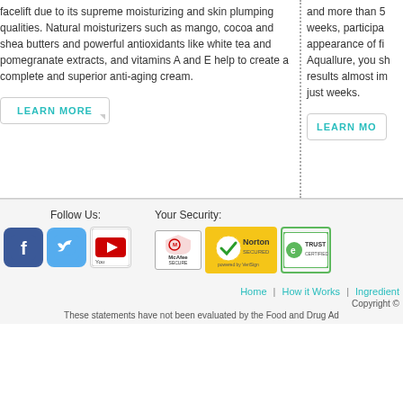facelift due to its supreme moisturizing and skin plumping qualities. Natural moisturizers such as mango, cocoa and shea butters and powerful antioxidants like white tea and pomegranate extracts, and vitamins A and E help to create a complete and superior anti-aging cream.
and more than 50 weeks, participants appearance of fine Aquallure, you should results almost immediately just weeks.
LEARN MORE
LEARN MO
Follow Us:
[Figure (logo): Facebook logo icon - blue square with white f]
[Figure (logo): Twitter logo icon - blue square with white bird]
[Figure (logo): YouTube logo icon - white square with red play button]
Your Security:
[Figure (logo): McAfee SECURE badge]
[Figure (logo): Norton SECURED powered by VeriSign badge]
[Figure (logo): TRUSTe Certified Privacy badge]
Home | How it Works | Ingredient
Copyright ©
These statements have not been evaluated by the Food and Drug Ad